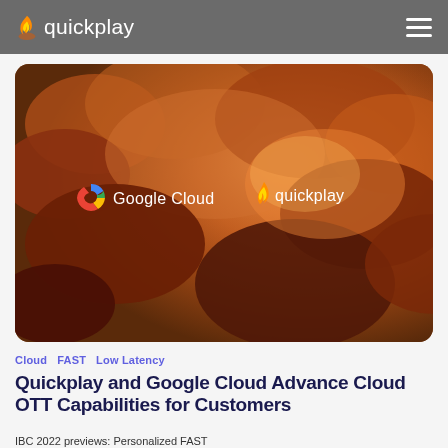quickplay
[Figure (photo): Dramatic orange/red cloudy sky background with Google Cloud and quickplay logos displayed in white in the center of the image]
Cloud   FAST   Low Latency
Quickplay and Google Cloud Advance Cloud OTT Capabilities for Customers
IBC 2022 previews: Personalized FAST